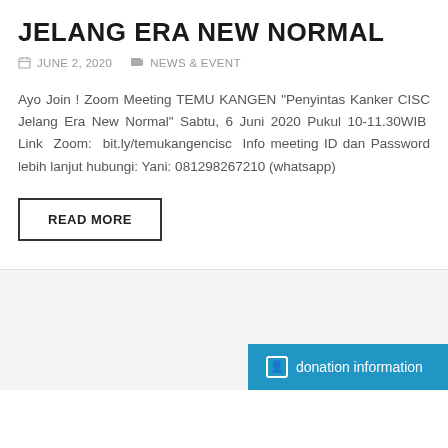JELANG ERA NEW NORMAL
JUNE 2, 2020   NEWS & EVENT
Ayo Join ! Zoom Meeting TEMU KANGEN "Penyintas Kanker CISC Jelang Era New Normal" Sabtu, 6 Juni 2020 Pukul 10-11.30WIB Link Zoom: bit.ly/temukangencisc Info meeting ID dan Password lebih lanjut hubungi: Yani: 081298267210 (whatsapp)
READ MORE
donation information